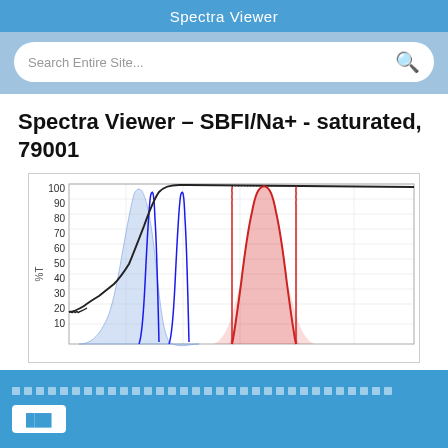Spectra Viewer
Spectra Viewer – SBFI/Na+ - saturated, 79001
[Figure (continuous-plot): Spectra viewer plot showing %T (percent transmittance) on y-axis from 10 to 100. Contains a light blue bell-curve (excitation spectrum), a narrow dark blue double-peaked curve, a black sigmoidal/step curve rising steeply around 400-450nm, and a red outlined bell-curve with pink fill (emission spectrum) peaking around 580-620nm range. Y-axis labeled %T with values 100, 90, 80, 70, 60, 50, 40, 30, 20, 10. Gridlines visible.]